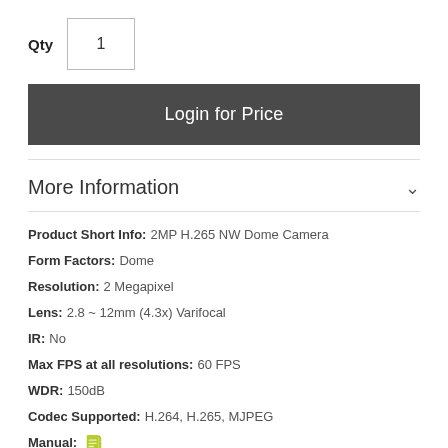Qty  1
Login for Price
More Information
Product Short Info: 2MP H.265 NW Dome Camera
Form Factors: Dome
Resolution: 2 Megapixel
Lens: 2.8 ~ 12mm (4.3x) Varifocal
IR: No
Max FPS at all resolutions: 60 FPS
WDR: 150dB
Codec Supported: H.264, H.265, MJPEG
Manual: [icon]